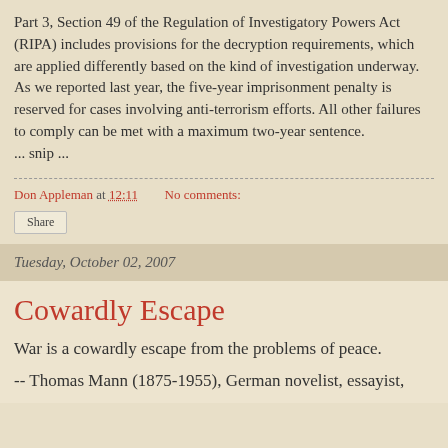Part 3, Section 49 of the Regulation of Investigatory Powers Act (RIPA) includes provisions for the decryption requirements, which are applied differently based on the kind of investigation underway. As we reported last year, the five-year imprisonment penalty is reserved for cases involving anti-terrorism efforts. All other failures to comply can be met with a maximum two-year sentence.
... snip ...
Don Appleman at 12:11    No comments:
Share
Tuesday, October 02, 2007
Cowardly Escape
War is a cowardly escape from the problems of peace.
-- Thomas Mann (1875-1955), German novelist, essayist,